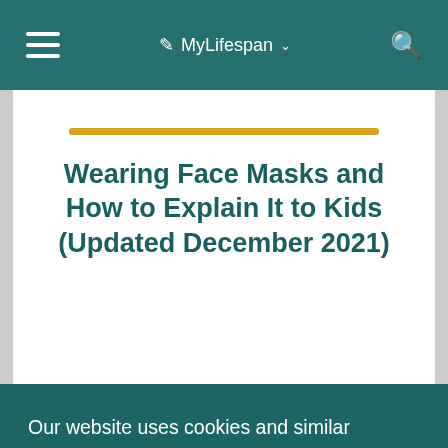MyLifespan
Wearing Face Masks and How to Explain It to Kids (Updated December 2021)
Our website uses cookies and similar technologies to improve your experience. By continuing to use our website, or by clicking Accept, you consent to the use of these technologies.